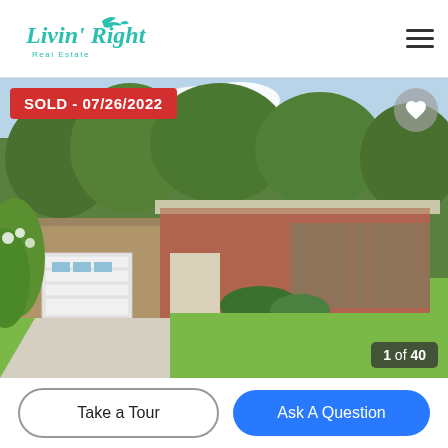[Figure (logo): Livin' Right Real Estate logo with dolphin icon in teal/turquoise color]
[Figure (photo): Exterior photo of a single-story brick ranch home with white garage door, concrete driveway, green lawn, and trees in background. Sold banner and photo counter overlay.]
SOLD - 07/26/2022
1 of 40
Take a Tour
Ask A Question